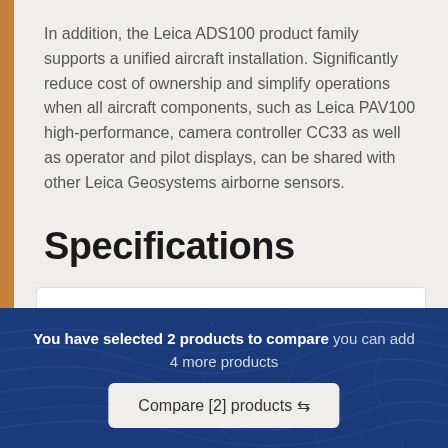In addition, the Leica ADS100 product family supports a unified aircraft installation. Significantly reduce cost of ownership and simplify operations when all aircraft components, such as Leica PAV100 high-performance, camera controller CC33 as well as operator and pilot displays, can be shared with other Leica Geosystems airborne sensors.
Specifications
⊞ GENERAL
You have selected 2 products to compare you can add 4 more products
Compare [2] products